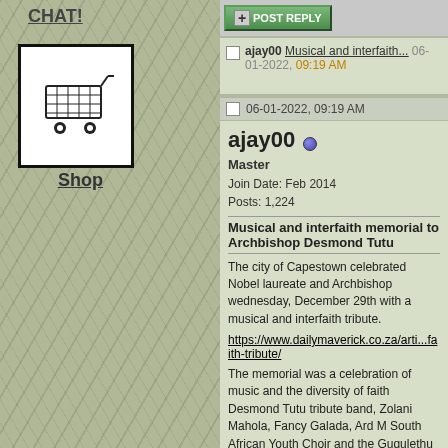CHAT!
[Figure (illustration): Shopping cart icon in black and white inside a black bordered box]
Shop
[Figure (screenshot): Post Reply button with green styling]
ajay00 Musical and interfaith... 06-01-2022, 09:19 AM
06-01-2022, 09:19 AM
ajay00
Master
Join Date: Feb 2014
Posts: 1,224
Musical and interfaith memorial to Archbishop Desmond Tutu
The city of Capestown celebrated Nobel laureate and Archbishop wednesday, December 29th with a musical and interfaith tribute.
https://www.dailymaverick.co.za/arti...faith-tribute/
The memorial was a celebration of music and the diversity of faith Desmond Tutu tribute band, Zolani Mahola, Fancy Galada, Ard M South African Youth Choir and the Gugulethu Tenors.